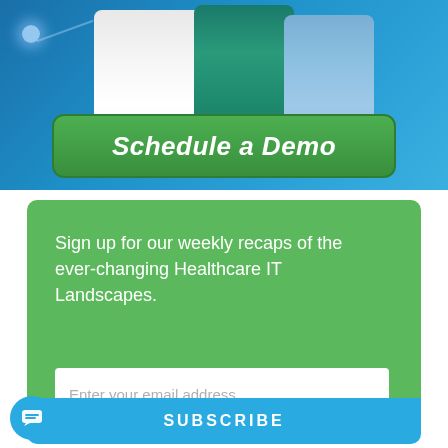[Figure (photo): Photo of medical professionals (doctors/nurses) in white, teal, and blue scrubs/coats against a blue background, with a green 'Schedule a Demo' button overlaid at the bottom of the image]
Sign up for our weekly recaps of the ever-changing Healthcare IT Landscapes.
Enter your email address
SUBSCRIBE